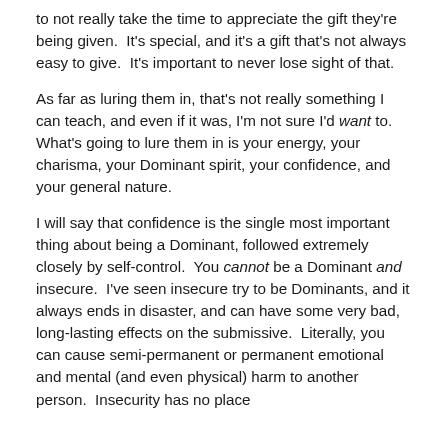to not really take the time to appreciate the gift they're being given.  It's special, and it's a gift that's not always easy to give.  It's important to never lose sight of that.
As far as luring them in, that's not really something I can teach, and even if it was, I'm not sure I'd want to.  What's going to lure them in is your energy, your charisma, your Dominant spirit, your confidence, and your general nature.
I will say that confidence is the single most important thing about being a Dominant, followed extremely closely by self-control.  You cannot be a Dominant and insecure.  I've seen insecure try to be Dominants, and it always ends in disaster, and can have some very bad, long-lasting effects on the submissive.  Literally, you can cause semi-permanent or permanent emotional and mental (and even physical) harm to another person.  Insecurity has no place